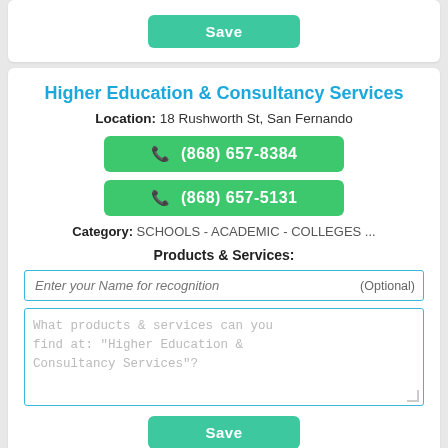Save
Higher Education & Consultancy Services
Location: 18 Rushworth St, San Fernando
(868) 657-8384
(868) 657-5131
Category: SCHOOLS - ACADEMIC - COLLEGES ...
Products & Services:
Enter your Name for recognition (Optional)
What products & services can you find at: "Higher Education & Consultancy Services"?
Save
Virtual Institute Of Education Ltd
Location: Dam Rd, Chaguanas